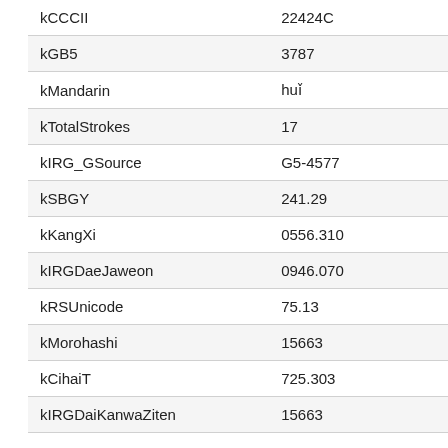| Property | Value |
| --- | --- |
| kCCCII | 22424C |
| kGB5 | 3787 |
| kMandarin | huǐ |
| kTotalStrokes | 17 |
| kIRG_GSource | G5-4577 |
| kSBGY | 241.29 |
| kKangXi | 0556.310 |
| kIRGDaeJaweon | 0946.070 |
| kRSUnicode | 75.13 |
| kMorohashi | 15663 |
| kCihaiT | 725.303 |
| kIRGDaiKanwaZiten | 15663 |